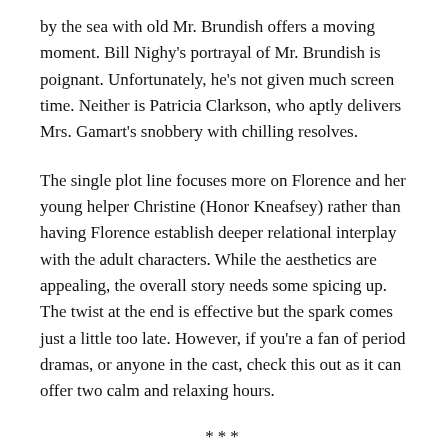by the sea with old Mr. Brundish offers a moving moment. Bill Nighy's portrayal of Mr. Brundish is poignant. Unfortunately, he's not given much screen time. Neither is Patricia Clarkson, who aptly delivers Mrs. Gamart's snobbery with chilling resolves.
The single plot line focuses more on Florence and her young helper Christine (Honor Kneafsey) rather than having Florence establish deeper relational interplay with the adult characters. While the aesthetics are appealing, the overall story needs some spicing up. The twist at the end is effective but the spark comes just a little too late. However, if you're a fan of period dramas, or anyone in the cast, check this out as it can offer two calm and relaxing hours.
***